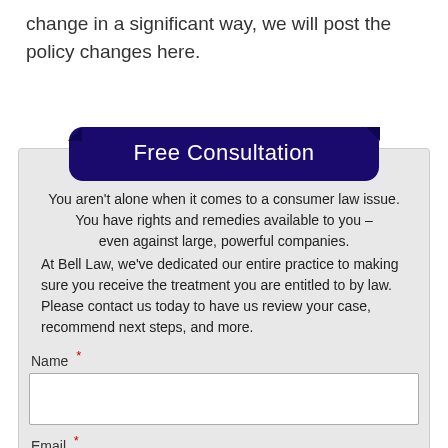change in a significant way, we will post the policy changes here.
Free Consultation
You aren't alone when it comes to a consumer law issue. You have rights and remedies available to you – even against large, powerful companies.
At Bell Law, we've dedicated our entire practice to making sure you receive the treatment you are entitled to by law. Please contact us today to have us review your case, recommend next steps, and more.
Name *
Email *